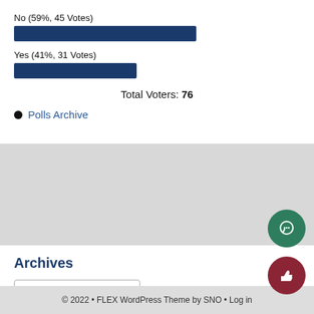[Figure (bar-chart): Poll results]
Total Voters: 76
Polls Archive
Archives
Select Month
© 2022 • FLEX WordPress Theme by SNO • Log in